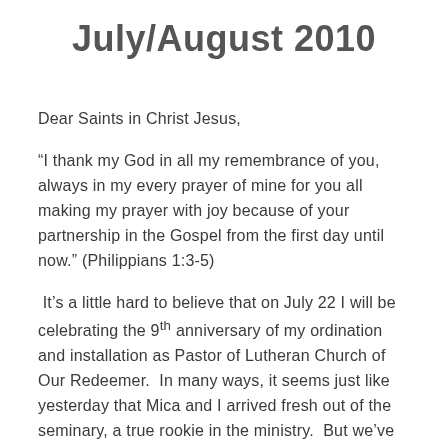July/August 2010
Dear Saints in Christ Jesus,
“I thank my God in all my remembrance of you, always in my every prayer of mine for you all making my prayer with joy because of your partnership in the Gospel from the first day until now.” (Philippians 1:3-5)
It’s a little hard to believe that on July 22 I will be celebrating the 9th anniversary of my ordination and installation as Pastor of Lutheran Church of Our Redeemer.  In many ways, it seems just like yesterday that Mica and I arrived fresh out of the seminary, a true rookie in the ministry.  But we’ve been through a lot together in the past nine years.  What I want to focus on in this letter